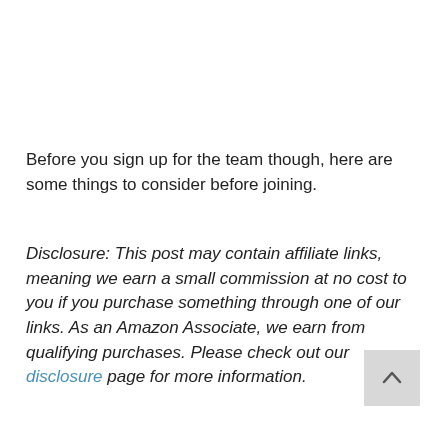Before you sign up for the team though, here are some things to consider before joining.
Disclosure: This post may contain affiliate links, meaning we earn a small commission at no cost to you if you purchase something through one of our links. As an Amazon Associate, we earn from qualifying purchases. Please check out our disclosure page for more information.